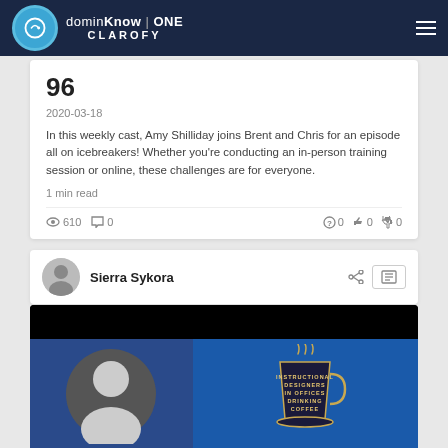dominKnow | ONE CLAROFY
96
2020-03-18
In this weekly cast, Amy Shilliday joins Brent and Chris for an episode all on icebreakers! Whether you’re conducting an in-person training session or online, these challenges are for everyone.
1 min read
610  0    0  0  0
Sierra Sykora
[Figure (photo): Lower section showing a person's photo on dark blue background with coffee mug graphic and text 'Instructional Designers in Offices Drinking Coffee']